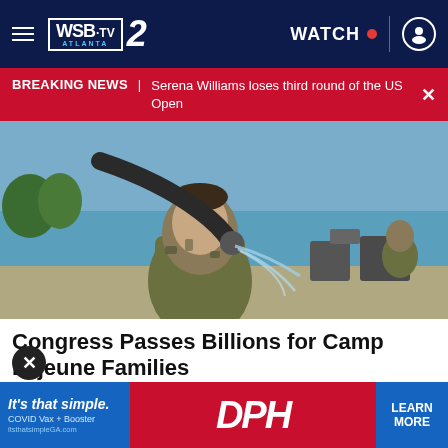WSB-TV 2 ATLANTA — WATCH
BREAKING NEWS | Serena Williams loses third round of the US Open
[Figure (photo): Military person in camouflage uniform drinking water from a large hose outdoors near a waterfront, with military equipment in background]
Congress Passes Billions for Camp Lejeune Families
UnitedClaimsBureau | Sponsored
[Figure (advertisement): Advertisement: It's that simple. COVID Vax + Booster — DPH — LEARN MORE — itsthatsimpleGA.com]